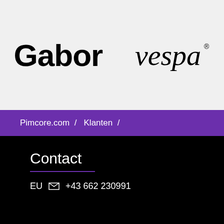[Figure (logo): Gabor logo in large black sans-serif text on light gray background]
[Figure (logo): Vespa logo in black italic script text on light gray background]
Pimcore.com / Klanten /
Contact
EU ✉ +43 662 230991
Neem contact op
Over